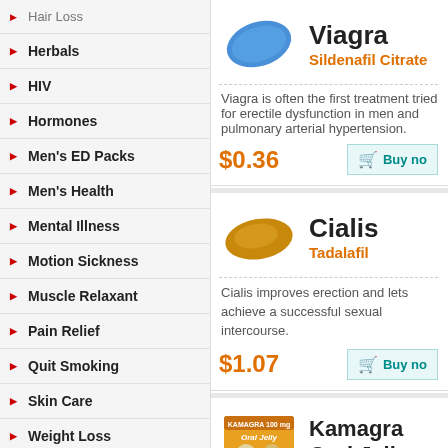Hair Loss
Herbals
HIV
Hormones
Men's ED Packs
Men's Health
Mental Illness
Motion Sickness
Muscle Relaxant
Pain Relief
Quit Smoking
Skin Care
Weight Loss
Women's Health
Payment Methods
[Figure (illustration): Blue diamond-shaped Viagra pill]
Viagra
Sildenafil Citrate
Viagra is often the first treatment tried for erectile dysfunction in men and pulmonary arterial hypertension.
$0.36
[Figure (illustration): Gold oval-shaped Cialis pill]
Cialis
Tadalafil
Cialis improves erection and lets achieve a successful sexual intercourse.
$1.07
[Figure (photo): Kamagra Oral Jelly package box]
Kamagra Oral Jelly
Sildenafil Citrate